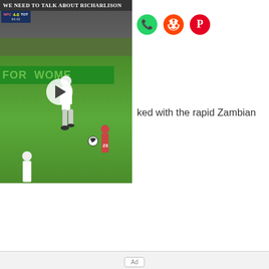[Figure (screenshot): Video thumbnail of a football/soccer match showing player in white Tottenham kit. Title bar reads 'We Need To Talk About Richarlison'. Green pitch with crowd in background, play button overlay.]
[Figure (other): Three social share icons: WhatsApp (green phone), Reddit (orange alien), Pinterest (red P)]
ked with the rapid Zambian
Ad